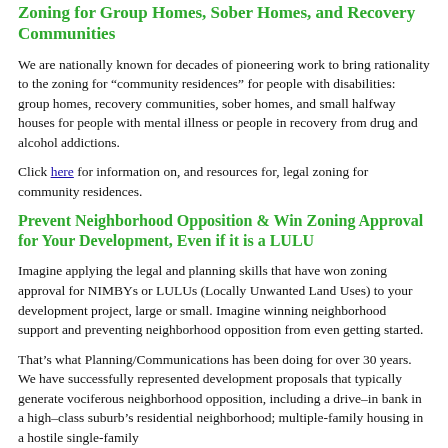Zoning for Group Homes, Sober Homes, and Recovery Communities
We are nationally known for decades of pioneering work to bring rationality to the zoning for “community residences” for people with disabilities: group homes, recovery communities, sober homes, and small halfway houses for people with mental illness or people in recovery from drug and alcohol addictions.
Click here for information on, and resources for, legal zoning for community residences.
Prevent Neighborhood Opposition & Win Zoning Approval for Your Development, Even if it is a LULU
Imagine applying the legal and planning skills that have won zoning approval for NIMBYs or LULUs (Locally Unwanted Land Uses) to your development project, large or small. Imagine winning neighborhood support and preventing neighborhood opposition from even getting started.
That’s what Planning/Communications has been doing for over 30 years. We have successfully represented development proposals that typically generate vociferous neighborhood opposition, including a drive–in bank in a high–class suburb’s residential neighborhood; multiple-family housing in a hostile single-family